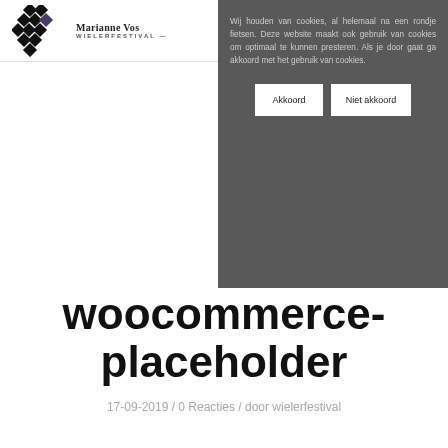[Figure (logo): Diamond pattern logo with grid of black diamonds and a purple/dark diamond in the center-right area]
Marianne Vos WIELERFESTIVAL
Wij houden van cookies, al helemaal na een rondje fietsen. Deze website maakt ook gebruik van cookies om optimaal te kunnen presteren. Als je door gaat ga akkoord met het gebruik van cookies.
Akkoord   Niet akkoord
woocommerce-placeholder
17-09-2019 / 0 Reacties / door wielerfestival